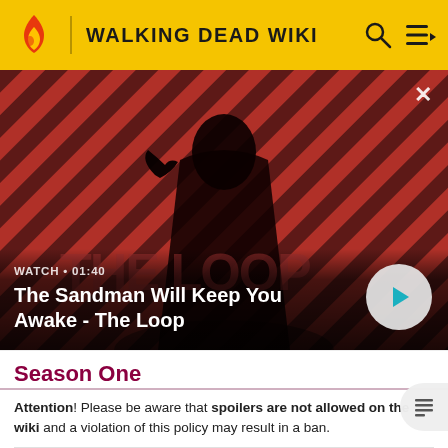WALKING DEAD WIKI
[Figure (screenshot): Video banner showing a dark figure with a crow on shoulder against a red and dark striped diagonal background. Title card reads 'The Sandman Will Keep You Awake - The Loop'. Watch duration shown as 01:40 with a play button.]
Season One
Attention! Please be aware that spoilers are not allowed on the wiki and a violation of this policy may result in a ban.
READ MORE